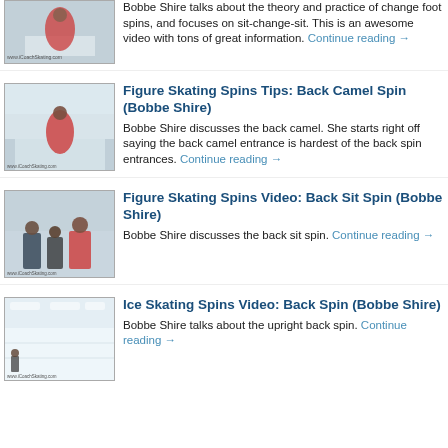[Figure (photo): Thumbnail of ice skating spin video - partial at top]
Bobbe Shire talks about the theory and practice of change foot spins, and focuses on sit-change-sit. This is an awesome video with tons of great information. Continue reading →
[Figure (photo): Thumbnail of back camel spin video with skater in red jacket]
Figure Skating Spins Tips: Back Camel Spin (Bobbe Shire)
Bobbe Shire discusses the back camel. She starts right off saying the back camel entrance is hardest of the back spin entrances. Continue reading →
[Figure (photo): Thumbnail of back sit spin video with three people on ice]
Figure Skating Spins Video: Back Sit Spin (Bobbe Shire)
Bobbe Shire discusses the back sit spin. Continue reading →
[Figure (photo): Thumbnail of back spin video showing empty ice rink]
Ice Skating Spins Video: Back Spin (Bobbe Shire)
Bobbe Shire talks about the upright back spin. Continue reading →